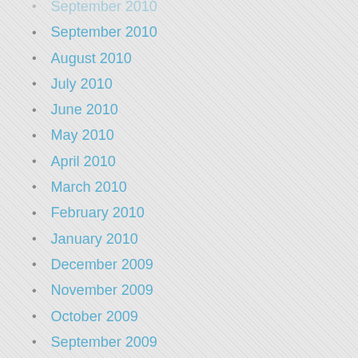September 2010
August 2010
July 2010
June 2010
May 2010
April 2010
March 2010
February 2010
January 2010
December 2009
November 2009
October 2009
September 2009
August 2009
July 2009
June 2009
May 2009
April 2009
March 2009